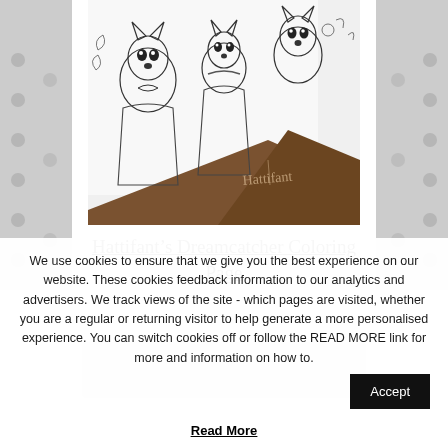[Figure (illustration): Coloring page illustration showing cute cartoon fox/animal characters wearing dresses and bows, with floral and nature motifs, on a wooden surface. Watermark reads 'Hattifant'.]
Hattifant’s Dreamcatcher Coloring Page
[Figure (other): Partially visible gray content block below the title]
We use cookies to ensure that we give you the best experience on our website. These cookies feedback information to our analytics and advertisers. We track views of the site - which pages are visited, whether you are a regular or returning visitor to help generate a more personalised experience. You can switch cookies off or follow the READ MORE link for more and information on how to.
Read More